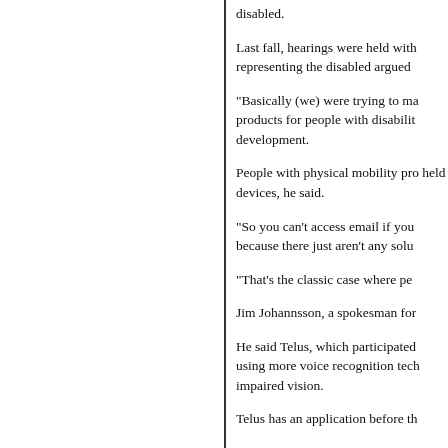disabled.
Last fall, hearings were held with representing the disabled argued
"Basically (we) were trying to ma products for people with disabilit development.
People with physical mobility pro held devices, he said.
"So you can't access email if you because there just aren't any solu
"That's the classic case where pe
Jim Johannsson, a spokesman for
He said Telus, which participated using more voice recognition tech impaired vision.
Telus has an application before th